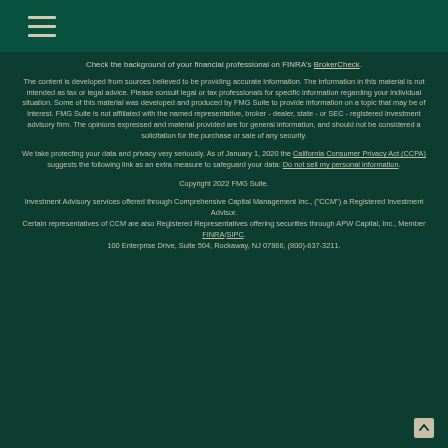Navigation menu icon (hamburger)
Check the background of your financial professional on FINRA's BrokerCheck.
The content is developed from sources believed to be providing accurate information. The information in this material is not intended as tax or legal advice. Please consult legal or tax professionals for specific information regarding your individual situation. Some of this material was developed and produced by FMG Suite to provide information on a topic that may be of interest. FMG Suite is not affiliated with the named representative, broker - dealer, state - or SEC - registered investment advisory firm. The opinions expressed and material provided are for general information, and should not be considered a solicitation for the purchase or sale of any security.
We take protecting your data and privacy very seriously. As of January 1, 2020 the California Consumer Privacy Act (CCPA) suggests the following link as an extra measure to safeguard your data: Do not sell my personal information.
Copyright 2022 FMG Suite.
Investment Advisory services offered through Comprehensive Capital Management Inc., ("CCM") a Registered Investment Advisor. Certain representatives of CCM are also Registered Representatives offering securities through APW Capital, Inc., Member FINRA/SIPC. 100 Enterprise Drive, Suite 504, Rockaway, NJ 07866, (800)-637-3211.